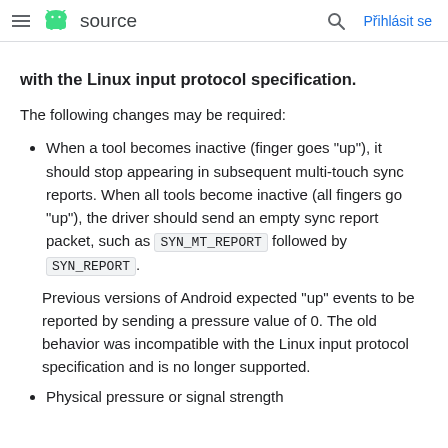≡  source   🔍  Přihlásit se
with the Linux input protocol specification.
The following changes may be required:
When a tool becomes inactive (finger goes "up"), it should stop appearing in subsequent multi-touch sync reports. When all tools become inactive (all fingers go "up"), the driver should send an empty sync report packet, such as SYN_MT_REPORT followed by SYN_REPORT. Previous versions of Android expected "up" events to be reported by sending a pressure value of 0. The old behavior was incompatible with the Linux input protocol specification and is no longer supported.
Physical pressure or signal strength